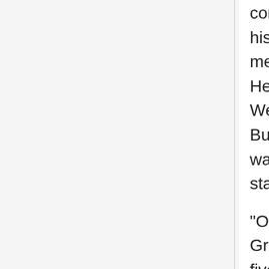completely like a Hollywood action star with his rugged body, he was wearing several medals on the chest of his military uniform. He guessed that it was the commander of West USA's side that he had heard of before. But, perhaps he didn't plan to really talk, he was sitting at the seat on the corner and staring at the situation of the meeting room.
“One week has passed since the assault of Gravel. Currently Ataraxia has retreated until five hundred kilometers southeast of Okinawa. We are staying in this position.”
A huge screen like in movie theater was projecting a map, it was displaying Ataraxia’s current position.
“Surely those AU bunches are going to solve their cruising range problem